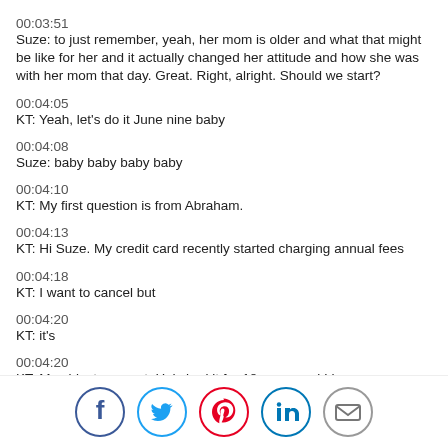00:03:51
Suze: to just remember, yeah, her mom is older and what that might be like for her and it actually changed her attitude and how she was with her mom that day. Great. Right, alright. Should we start?
00:04:05
KT: Yeah, let’s do it June nine baby
00:04:08
Suze: baby baby baby baby
00:04:10
KT: My first question is from Abraham.
00:04:13
KT: Hi Suze. My credit card recently started charging annual fees
00:04:18
KT: I want to cancel but
00:04:20
KT: it’s
00:04:20
KT: My oldest account. He’s had it for 18 years and I have a [continues]
[Figure (infographic): Social media sharing icons: Facebook (blue circle), Twitter (blue circle), Pinterest (red circle), LinkedIn (blue circle), Email (gray circle)]